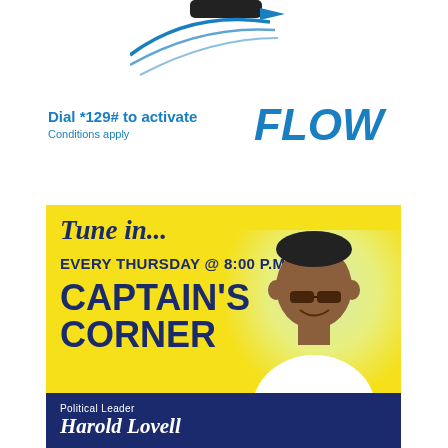[Figure (illustration): Dart or streaming device graphic at top of page with blue swirl/swoosh design]
Dial *129# to activate
Conditions apply
[Figure (logo): FLOW logo in bold blue italic text]
[Figure (infographic): Yellow and navy political advertisement banner. Text reads: Tune in... EVERY THURSDAY @ 8:00 P.M. CAPTAIN'S CORNER. Features photo of Political Leader Harold Lovell. Progressive party branding at bottom.]